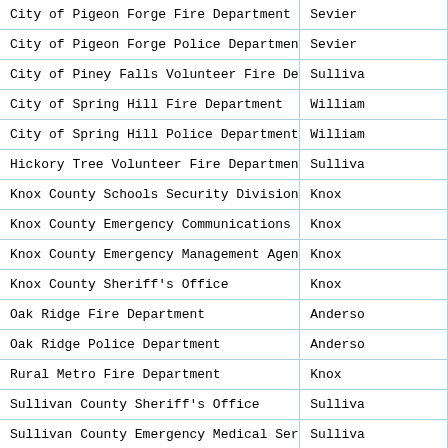| Agency | County |
| --- | --- |
| City of Pigeon Forge Fire Department | Sevier |
| City of Pigeon Forge Police Department | Sevier |
| City of Piney Falls Volunteer Fire Department | Sullivan |
| City of Spring Hill Fire Department | Williamson |
| City of Spring Hill Police Department | Williamson |
| Hickory Tree Volunteer Fire Department | Sullivan |
| Knox County Schools Security Division | Knox |
| Knox County Emergency Communications District | Knox |
| Knox County Emergency Management Agency | Knox |
| Knox County Sheriff's Office | Knox |
| Oak Ridge Fire Department | Anderson |
| Oak Ridge Police Department | Anderson |
| Rural Metro Fire Department | Knox |
| Sullivan County Sheriff's Office | Sullivan |
| Sullivan County Emergency Medical Services | Sullivan |
| Sullivan County Health Department | Sullivan |
| Sullivan County Volunteer Fire Department | Sullivan |
| Tipton County Fire Department | Tipton |
| Tipton County Police Department | Tipton |